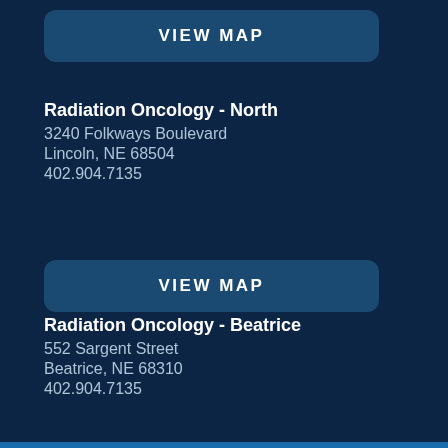[Figure (screenshot): VIEW MAP button at top of screen]
Radiation Oncology - North
3240 Folkways Boulevard
Lincoln, NE 68504
402.904.7135
[Figure (screenshot): VIEW MAP button below Radiation Oncology - North listing]
Radiation Oncology - Beatrice
552 Sargent Street
Beatrice, NE 68310
402.904.7135
[Figure (screenshot): VIEW MAP button below Radiation Oncology - Beatrice listing]